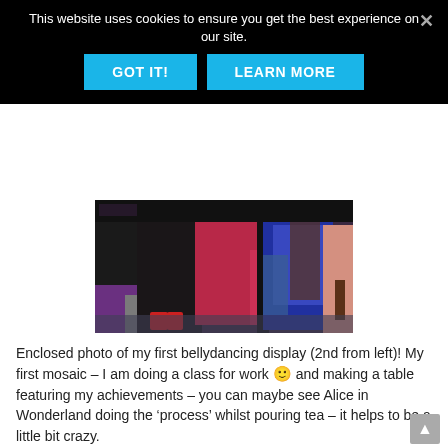This website uses cookies to ensure you get the best experience on our site.
GOT IT!
LEARN MORE
[Figure (photo): Group of people in belly dancing costumes, showing their lower bodies and colorful outfits including black, red/pink, and blue fabrics]
Enclosed photo of my first bellydancing display (2nd from left)! My first mosaic – I am doing a class for work 🙂 and making a table featuring my achievements – you can maybe see Alice in Wonderland doing the ‘process’ whilst pouring tea – it helps to be a little bit crazy.
[Figure (photo): Partial view of a mosaic table featuring colorful tiles, bottom portion visible]